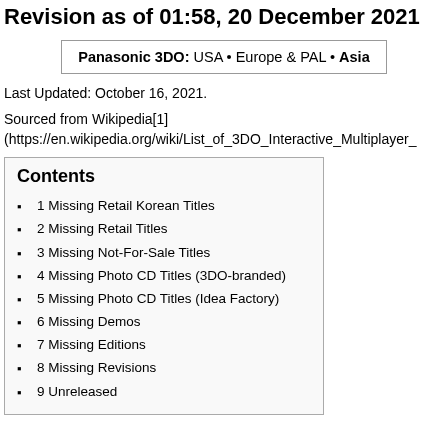Revision as of 01:58, 20 December 2021
Panasonic 3DO: USA • Europe & PAL • Asia
Last Updated: October 16, 2021.
Sourced from Wikipedia[1] (https://en.wikipedia.org/wiki/List_of_3DO_Interactive_Multiplayer_
Contents
1 Missing Retail Korean Titles
2 Missing Retail Titles
3 Missing Not-For-Sale Titles
4 Missing Photo CD Titles (3DO-branded)
5 Missing Photo CD Titles (Idea Factory)
6 Missing Demos
7 Missing Editions
8 Missing Revisions
9 Unreleased